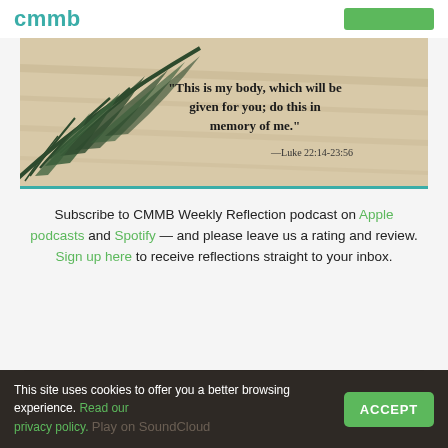cmmb
[Figure (illustration): Banner image with palm leaf on a warm beige/tan background. Text overlay reads: "This is my body, which will be given for you; do this in memory of me." —Luke 22:14-23:56]
Subscribe to CMMB Weekly Reflection podcast on Apple podcasts and Spotify — and please leave us a rating and review. Sign up here to receive reflections straight to your inbox.
This site uses cookies to offer you a better browsing experience. Read our privacy policy. Play on SoundCloud
ACCEPT